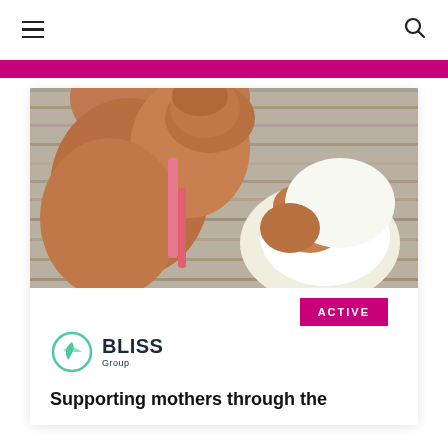≡ [hamburger menu] [search icon]
[Figure (other): Magenta/pink horizontal bar beneath the page header navigation]
[Figure (photo): Close-up photo of a mother holding and looking at her baby, both of African descent. The baby is wearing a white garment. Background appears to be a wooden wall.]
ACTIVE
[Figure (logo): BLISS Group logo — a green leaf/circle icon next to the word BLISS in dark navy bold letters, with 'Group' written below in smaller text]
Supporting mothers through the